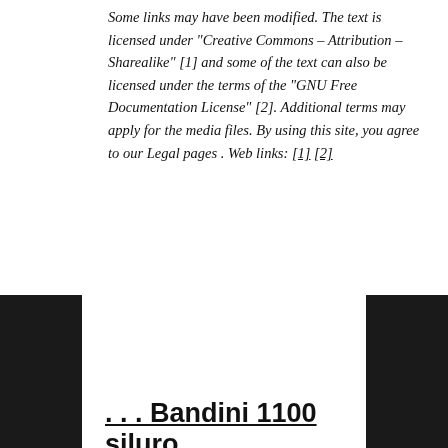Some links may have been modified. The text is licensed under "Creative Commons – Attribution – Sharealike" [1] and some of the text can also be licensed under the terms of the "GNU Free Documentation License" [2]. Additional terms may apply for the media files. By using this site, you agree to our Legal pages . Web links: [1] [2]
. . . Bandini 1100 siluro . . .
More Stories
[Figure (photo): Thumbnail photo for story about 2013 World Junior and U2 Canoe Slalom]
2013 World Junior and U2 Canoe Slalom
We use cookies to ensure that we give you the best experience on our website. If you continue to use this site we will assume that you are happy with it.
Ok